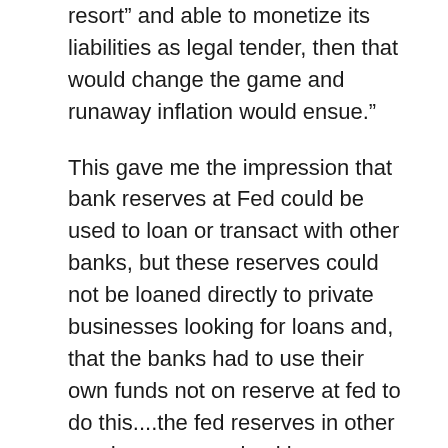resort” and able to monetize its liabilities as legal tender, then that would change the game and runaway inflation would ensue.”
This gave me the impression that bank reserves at Fed could be used to loan or transact with other banks, but these reserves could not be loaned directly to private businesses looking for loans and, that the banks had to use their own funds not on reserve at fed to do this....the fed reserves in other words serve as a backing.
Most of us are visual, so on this one most folks probably need a step by